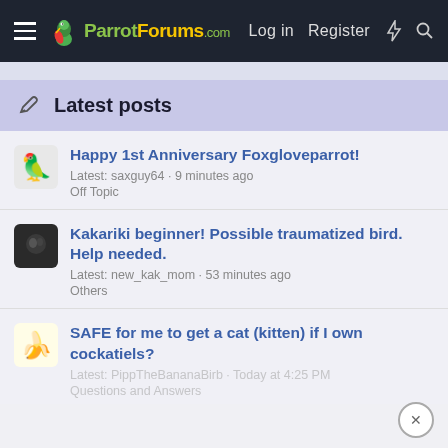ParrotForums.com  Log in  Register
Latest posts
Happy 1st Anniversary Foxgloveparrot!
Latest: saxguy64 · 9 minutes ago
Off Topic
Kakariki beginner! Possible traumatized bird. Help needed.
Latest: new_kak_mom · 53 minutes ago
Others
SAFE for me to get a cat (kitten) if I own cockatiels?
Latest: PippTheBananaBirb · Today at 4:25 PM
Questions and Answers